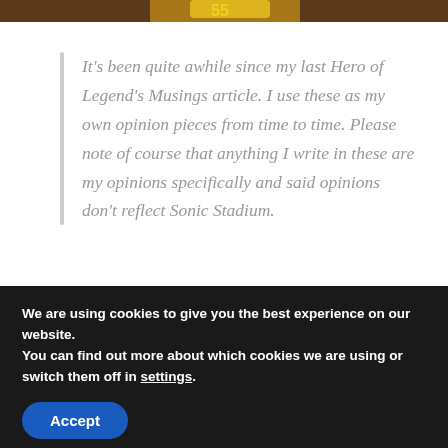[Figure (photo): Top strip of an image showing what appears to be a game-related image with golden/orange elements on a dark background]
It's been quite awhile since my last Hero of Legend's Musings article. I use these as my own opinion pieces from time to time. Please note of course that anything I write in these are my opinions specifically and said opinions don't reflect Sonic Stadium.
We are using cookies to give you the best experience on our website.
You can find out more about which cookies we are using or switch them off in settings.
Accept